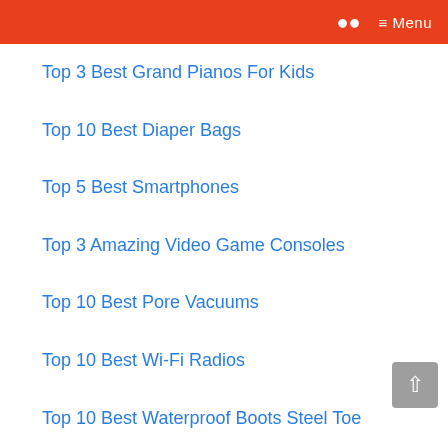Menu
Top 3 Best Grand Pianos For Kids
Top 10 Best Diaper Bags
Top 5 Best Smartphones
Top 3 Amazing Video Game Consoles
Top 10 Best Pore Vacuums
Top 10 Best Wi-Fi Radios
Top 10 Best Waterproof Boots Steel Toe
Top 10 Best Couch Mouse Pads
Top 10 Best Smartphone Microphones
Top 3 Best Premium Tops and Shirts